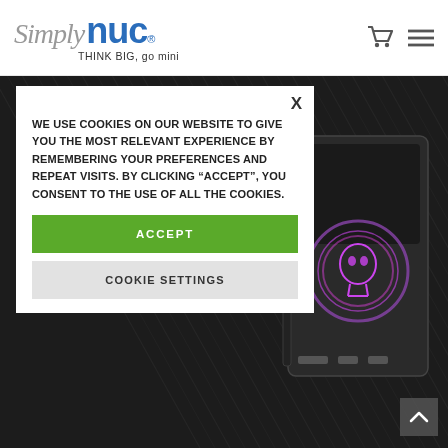[Figure (logo): Simply NUC logo with tagline THINK BIG, go mini]
[Figure (screenshot): Cookie consent modal dialog overlay on Simply NUC website with dark textured hero background showing a NUC mini PC device]
WE USE COOKIES ON OUR WEBSITE TO GIVE YOU THE MOST RELEVANT EXPERIENCE BY REMEMBERING YOUR PREFERENCES AND REPEAT VISITS. BY CLICKING “ACCEPT”, YOU CONSENT TO THE USE OF ALL THE COOKIES.
ACCEPT
COOKIE SETTINGS